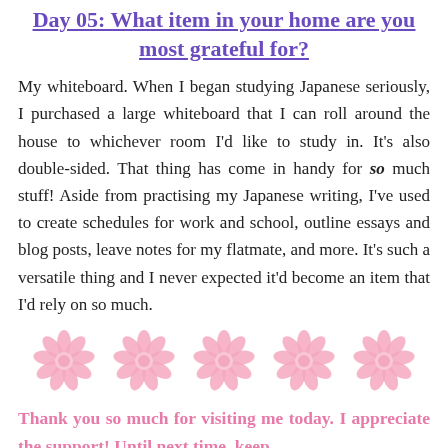Day 05: What item in your home are you most grateful for?
My whiteboard. When I began studying Japanese seriously, I purchased a large whiteboard that I can roll around the house to whichever room I'd like to study in. It's also double-sided. That thing has come in handy for so much stuff! Aside from practising my Japanese writing, I've used to create schedules for work and school, outline essays and blog posts, leave notes for my flatmate, and more. It's such a versatile thing and I never expected it'd become an item that I'd rely on so much.
[Figure (illustration): Five pink daisy/flower illustrations arranged in a row]
Thank you so much for visiting me today. I appreciate the support! Until next time, keep